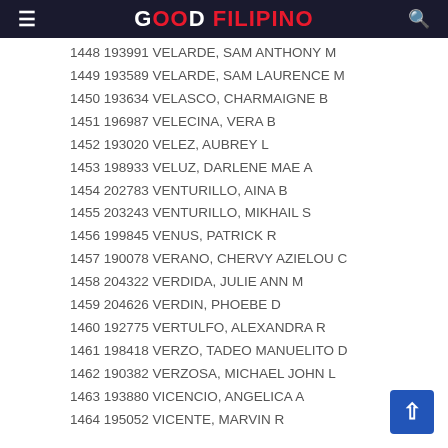GOOD FILIPINO
1448 193991 VELARDE, SAM ANTHONY M
1449 193589 VELARDE, SAM LAURENCE M
1450 193634 VELASCO, CHARMAIGNE B
1451 196987 VELECINA, VERA B
1452 193020 VELEZ, AUBREY L
1453 198933 VELUZ, DARLENE MAE A
1454 202783 VENTURILLO, AINA B
1455 203243 VENTURILLO, MIKHAIL S
1456 199845 VENUS, PATRICK R
1457 190078 VERANO, CHERVY AZIELOU C
1458 204322 VERDIDA, JULIE ANN M
1459 204626 VERDIN, PHOEBE D
1460 192775 VERTULFO, ALEXANDRA R
1461 198418 VERZO, TADEO MANUELITO D
1462 190382 VERZOSA, MICHAEL JOHN L
1463 193880 VICENCIO, ANGELICA A
1464 195052 VICENTE, MARVIN R